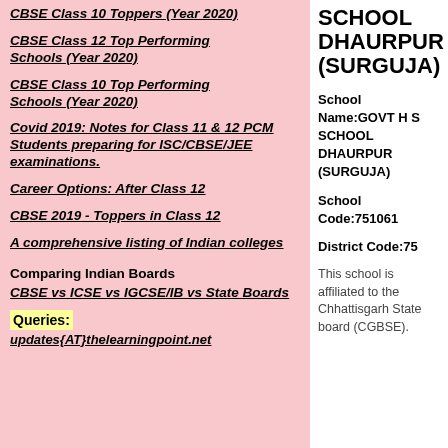CBSE Class 10 Toppers (Year 2020)
CBSE Class 12 Top Performing Schools (Year 2020)
CBSE Class 10 Top Performing Schools (Year 2020)
Covid 2019: Notes for Class 11 & 12 PCM Students preparing for ISC/CBSE/JEE examinations.
Career Options: After Class 12
CBSE 2019 - Toppers in Class 12
A comprehensive listing of Indian colleges
Comparing Indian Boards
CBSE vs ICSE vs IGCSE/IB vs State Boards
Queries:
updates{AT}thelearningpoint.net
SCHOOL DHAURPUR (SURGUJA)
School Name:GOVT H S SCHOOL DHAURPUR (SURGUJA)
School Code:751061
District Code:75
This school is affiliated to the Chhattisgarh State board (CGBSE).